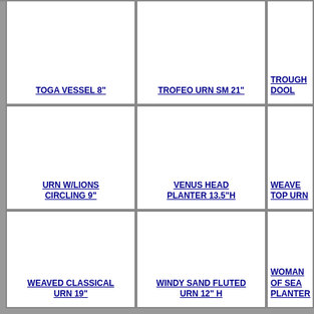[Figure (other): Product image placeholder cell for TOGA VESSEL 8"]
TOGA VESSEL 8"
[Figure (other): Product image placeholder cell for TROFEO URN SM 21"]
TROFEO URN SM 21"
[Figure (other): Product image placeholder cell for TROUGH DOOL (partial)]
TROUGH DOOL
[Figure (other): Product image placeholder cell for URN W/LIONS CIRCLING 9"]
URN W/LIONS CIRCLING 9"
[Figure (other): Product image placeholder cell for VENUS HEAD PLANTER 13.5"H]
VENUS HEAD PLANTER 13.5"H
[Figure (other): Product image placeholder cell for WEAVE TOP URN (partial)]
WEAVE TOP URN
[Figure (other): Product image placeholder cell for WEAVED CLASSICAL URN 19"]
WEAVED CLASSICAL URN 19"
[Figure (other): Product image placeholder cell for WINDY SAND FLUTED URN 12" H]
WINDY SAND FLUTED URN 12" H
[Figure (other): Product image placeholder cell for WOMAN OF SEA PLANTER (partial)]
WOMAN OF SEA PLANTER